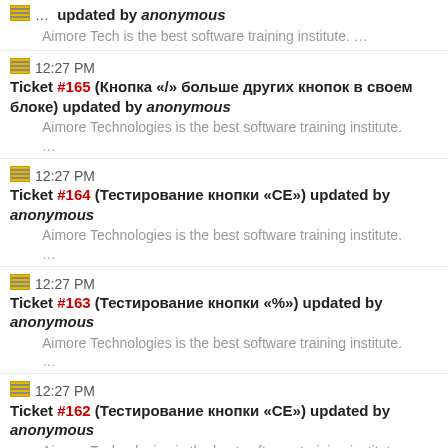12:27 PM Ticket #165 (Кнопка «/» больше других кнопок в своем блоке) updated by anonymous — Aimore Technologies is the best software training institute. …
12:27 PM Ticket #164 (Тестирование кнопки «CE») updated by anonymous — Aimore Technologies is the best software training institute. …
12:27 PM Ticket #163 (Тестирование кнопки «%») updated by anonymous — Aimore Technologies is the best software training institute. …
12:27 PM Ticket #162 (Тестирование кнопки «CE») updated by anonymous — Aimore Technologies is the best software training institute. …
12:26 PM Ticket #161 (Тестирование кнопки «%»)